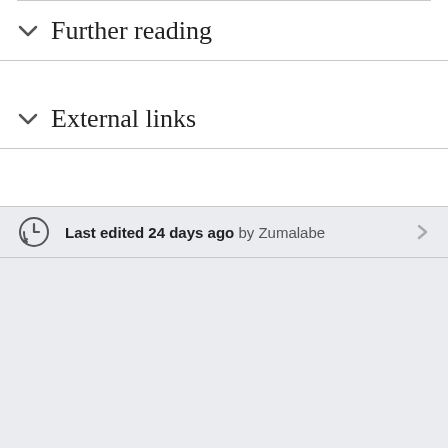Further reading
External links
Last edited 24 days ago by Zumalabe